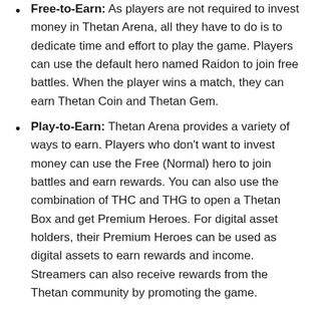Free-to-Earn: As players are not required to invest money in Thetan Arena, all they have to do is to dedicate time and effort to play the game. Players can use the default hero named Raidon to join free battles. When the player wins a match, they can earn Thetan Coin and Thetan Gem.
Play-to-Earn: Thetan Arena provides a variety of ways to earn. Players who don't want to invest money can use the Free (Normal) hero to join battles and earn rewards. You can also use the combination of THC and THG to open a Thetan Box and get Premium Heroes. For digital asset holders, their Premium Heroes can be used as digital assets to earn rewards and income. Streamers can also receive rewards from the Thetan community by promoting the game.
About Thetan Coin (THC)